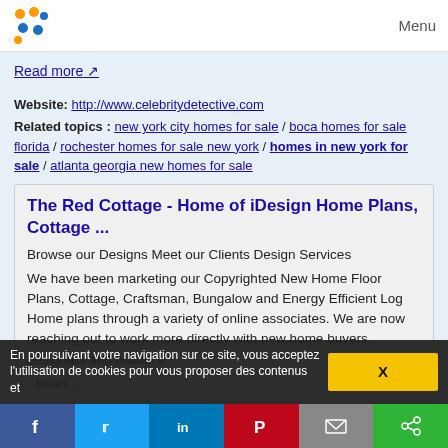Menu
Read more ↗
Website: http://www.celebritydetective.com
Related topics : new york city homes for sale / boca homes for sale florida / rochester homes for sale new york / homes in new york for sale / atlanta georgia new homes for sale
The Red Cottage - Home of iDesign Home Plans, Cottage ...
Browse our Designs Meet our Clients Design Services
We have been marketing our Copyrighted New Home Floor Plans, Cottage, Craftsman, Bungalow and Energy Efficient Log Home plans through a variety of online associates. We are now reaching out to work more directly with new home buyers, designers and builders.
- Brian...
En poursuivant votre navigation sur ce site, vous acceptez l'utilisation de cookies pour vous proposer des contenus et
X